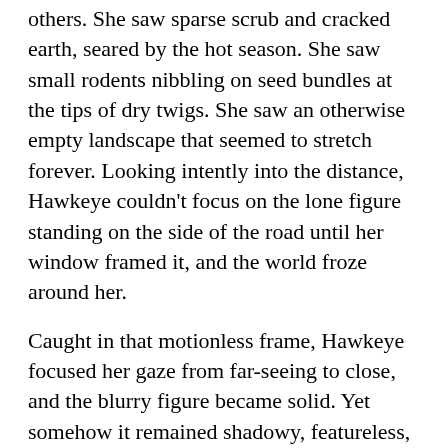others. She saw sparse scrub and cracked earth, seared by the hot season. She saw small rodents nibbling on seed bundles at the tips of dry twigs. She saw an otherwise empty landscape that seemed to stretch forever. Looking intently into the distance, Hawkeye couldn't focus on the lone figure standing on the side of the road until her window framed it, and the world froze around her.
Caught in that motionless frame, Hawkeye focused her gaze from far-seeing to close, and the blurry figure became solid. Yet somehow it remained shadowy, featureless, except for eyes that trapped her in its dead regard.
Ghost . . .
“In Evernight,” whispered the ghost, with a woman’s voice, “closing doors and the waiting. Have the pills running up stairs? Things are here and taking for the Wolves, hear the lark ascending. The Loops and loops the loops, so through-and-through, speaking Spirits of Glory